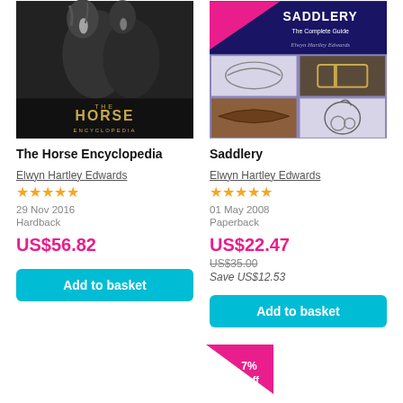[Figure (photo): Book cover of The Horse Encyclopedia showing two horses in black and white]
The Horse Encyclopedia
Elwyn Hartley Edwards
★★★★½
29 Nov 2016
Hardback
US$56.82
[Figure (photo): Book cover of Saddlery: The Complete Guide by Elwyn Hartley Edwards]
Saddlery
Elwyn Hartley Edwards
★★★★½
01 May 2008
Paperback
US$22.47
US$35.00
Save US$12.53
7% off